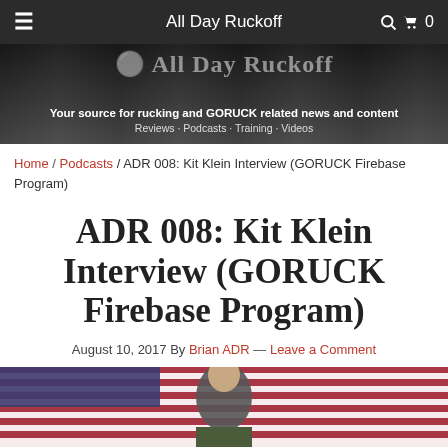All Day Ruckoff
[Figure (photo): Website banner/hero image with logo text 'All Day Ruckoff', subtitle 'Your source for rucking and GORUCK related news and content', and categories 'Reviews · Podcasts · Training · Videos']
Home / Podcasts / ADR 008: Kit Klein Interview (GORUCK Firebase Program)
ADR 008: Kit Klein Interview (GORUCK Firebase Program)
August 10, 2017 By Brian ADR — Leave a Comment
[Figure (photo): Photo of a person in military uniform in front of an American flag]